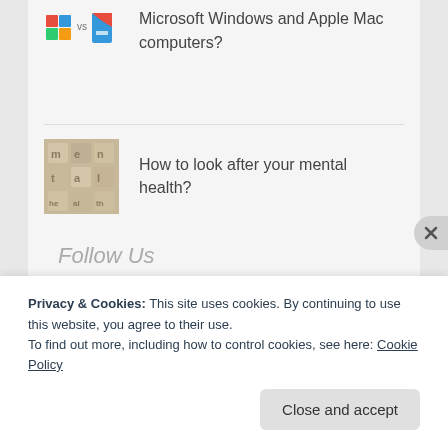[Figure (illustration): VS icons showing Windows logo and Mac/Apple flag icon side by side]
Microsoft Windows and Apple Mac computers?
[Figure (photo): Thumbnail image showing text/letters spelling out 'mental health' on stone tiles]
How to look after your mental health?
Follow Us
Privacy & Cookies: This site uses cookies. By continuing to use this website, you agree to their use.
To find out more, including how to control cookies, see here: Cookie Policy